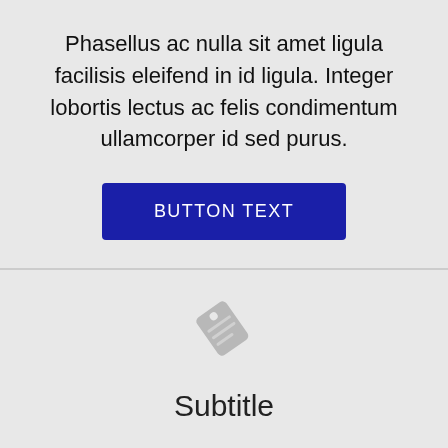Phasellus ac nulla sit amet ligula facilisis eleifend in id ligula. Integer lobortis lectus ac felis condimentum ullamcorper id sed purus.
[Figure (other): A dark blue rounded rectangle button with white uppercase text reading BUTTON TEXT]
[Figure (illustration): A light gray price tag icon]
Subtitle